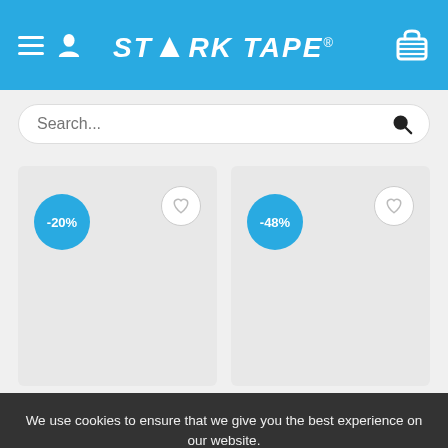[Figure (screenshot): Stark Tape website header with blue background, hamburger menu, user icon, STARK TAPE logo, and cart icon]
[Figure (screenshot): Search bar with placeholder text 'Search...' and magnifying glass icon]
[Figure (screenshot): Product card with -20% discount badge and heart/wishlist button]
[Figure (screenshot): Product card with -48% discount badge and heart/wishlist button]
We use cookies to ensure that we give you the best experience on our website.
Ok